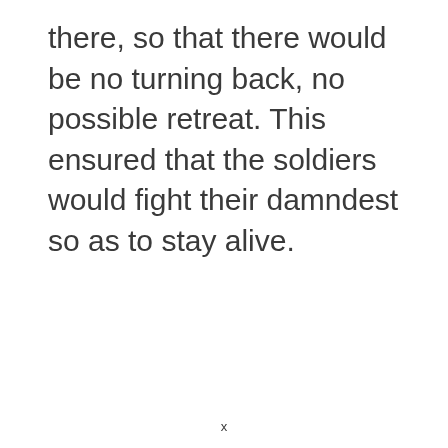there, so that there would be no turning back, no possible retreat. This ensured that the soldiers would fight their damndest so as to stay alive.
x